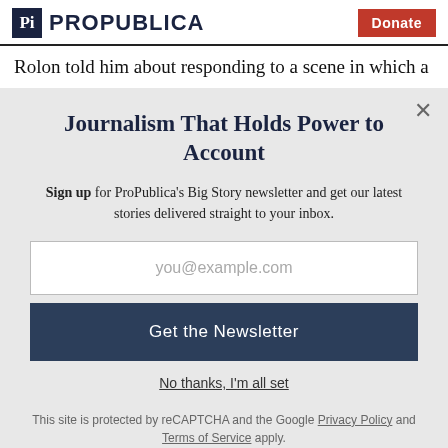ProPublica | Donate
Rolon told him about responding to a scene in which a
Journalism That Holds Power to Account
Sign up for ProPublica's Big Story newsletter and get our latest stories delivered straight to your inbox.
you@example.com
Get the Newsletter
No thanks, I'm all set
This site is protected by reCAPTCHA and the Google Privacy Policy and Terms of Service apply.